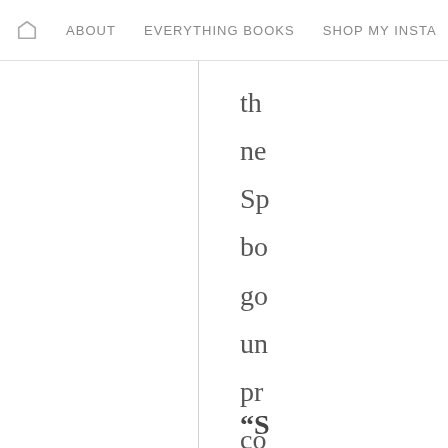🏠  ABOUT  EVERYTHING BOOKS  SHOP MY INSTA
th
ne
Sp
bo
go
un
pr
co
or
“S